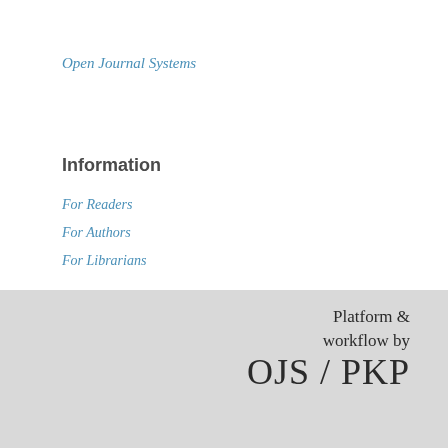Open Journal Systems
Information
For Readers
For Authors
For Librarians
Platform & workflow by OJS / PKP